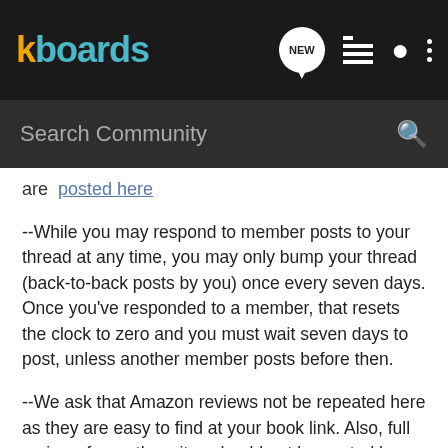kboards
are posted here
--While you may respond to member posts to your thread at any time, you may only bump your thread (back-to-back posts by you) once every seven days. Once you've responded to a member, that resets the clock to zero and you must wait seven days to post, unless another member posts before then.
--We ask that Amazon reviews not be repeated here as they are easy to find at your book link. Also, full reviews from other sites should not be posted here, but you may post a short blurb and a link to the full review instead.
--Although self-promotion is limited to the Book Bazaar, our most successful authors have found the best way to promote their books is to be as active throughout KindleBoards as time